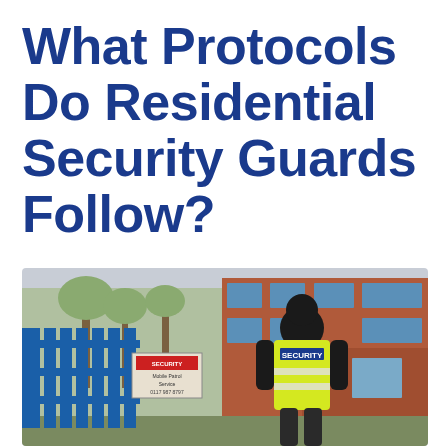What Protocols Do Residential Security Guards Follow?
[Figure (photo): A security guard in a high-visibility yellow jacket with 'SECURITY' printed on the back, standing at a blue metal gate in front of a brick building with blue-framed windows. A sign board is visible on the gate, and bare trees are in the background.]